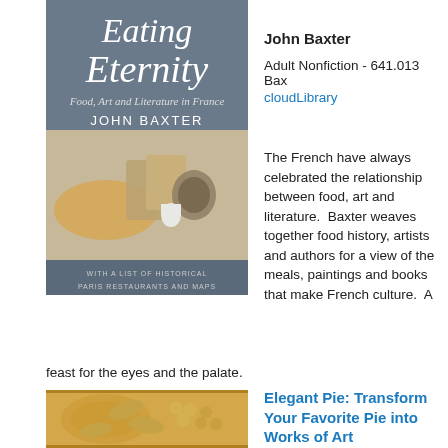[Figure (photo): Book cover of 'Eating Eternity: Food, Art and Literature in France' by John Baxter, showing an assortment of cheeses on a board with text 'With a list of historical Paris restaurants and maps']
John Baxter
Adult Nonfiction - 641.013 Bax
cloudLibrary
The French have always celebrated the relationship between food, art and literature.  Baxter weaves together food history, artists and authors for a view of the meals, paintings and books that make French culture.  A feast for the eyes and the palate.
[Figure (photo): Close-up photo of an ornately decorated pie crust with leaf and grape motifs in golden pastry]
Elegant Pie: Transform Your Favorite Pie into Works of Art